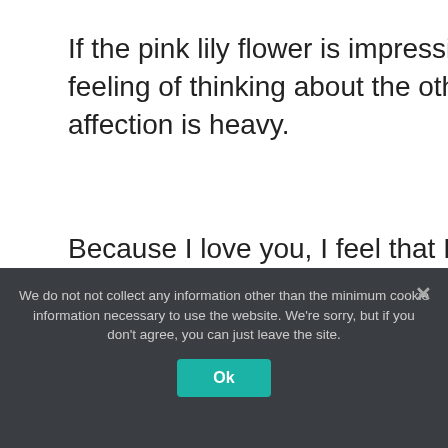If the pink lily flower is impressive, the oneiromancy shows that the feeling of thinking about the other person is too strong and the affection is heavy.
Because I love you, I feel that I like you too much, and that enthusiasm may be a burden to the other party. If you interact with them a little more naturally, you will be able to build a good relationship with each other.
What is the state of mind when
We do not not collect any information other than the minimum cookie information necessary to use the website. We're sorry, but if you don't agree, you can just leave the site.